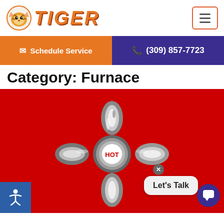Tiger - Schedule Service (309) 857-7723
Category: Furnace
[Figure (photo): A chrome cross-shaped hot water valve/faucet handle on a bright red background, with the word HOT visible in the center of the handle. A chat bubble overlay reads 'Let's Talk' with a close button and chat icon. An accessibility icon is in the bottom left corner.]